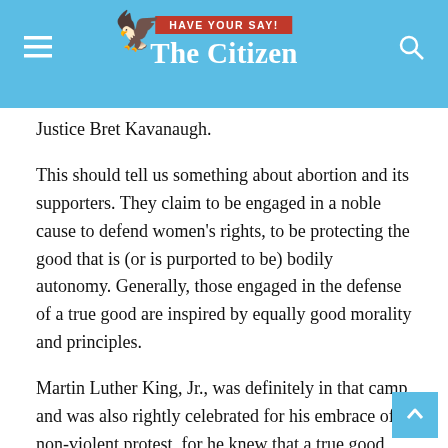HAVE YOUR SAY! The Citizen
Justice Bret Kavanaugh.
This should tell us something about abortion and its supporters. They claim to be engaged in a noble cause to defend women's rights, to be protecting the good that is (or is purported to be) bodily autonomy. Generally, those engaged in the defense of a true good are inspired by equally good morality and principles.
Martin Luther King, Jr., was definitely in that camp and was also rightly celebrated for his embrace of non-violent protest, for he knew that a true good was not achieved through reckless violence.
Violence may, at times, be required to protect the good, but